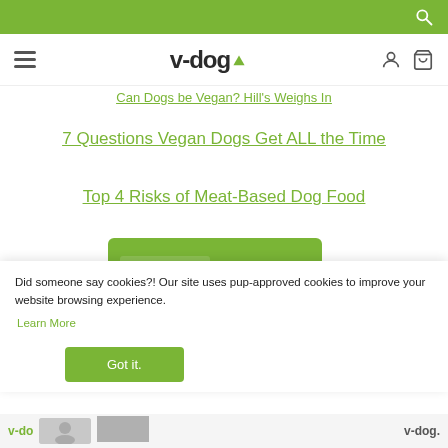v-dog (website header with navigation)
dogs here!
Can Dogs be Vegan? Hill's Weighs In
7 Questions Vegan Dogs Get ALL the Time
Top 4 Risks of Meat-Based Dog Food
[Figure (photo): Green bag of v-dog food labeled 'for Pooch & planet' with 'Our Never Anys' seal]
Did someone say cookies?! Our site uses pup-approved cookies to improve your website browsing experience. Learn More
[Figure (screenshot): Bottom strip with v-dog logos and a dog photo thumbnail]